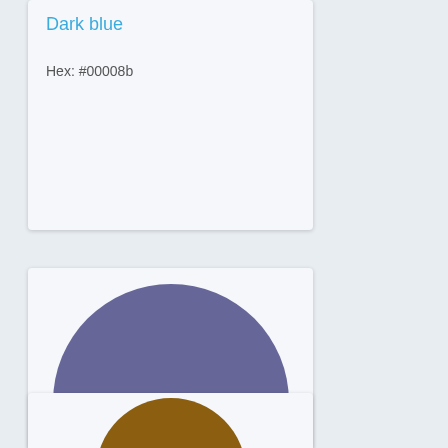Dark blue
Hex: #00008b
[Figure (illustration): Circle filled with dark blue-gray color #666699]
Dark blue-gray
Hex: #666699
[Figure (illustration): Partial circle filled with brown/dark yellow color at bottom of page]